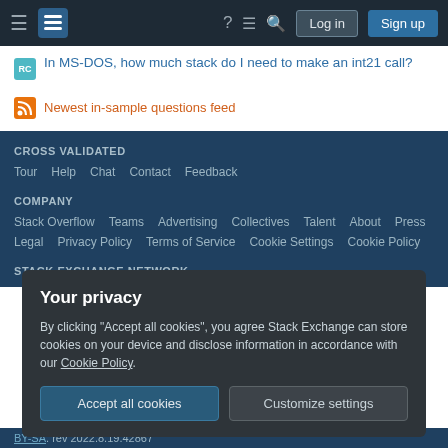Stack Exchange navigation bar with Log in and Sign up buttons
In MS-DOS, how much stack do I need to make an int21 call?
Newest in-sample questions feed
CROSS VALIDATED
Tour  Help  Chat  Contact  Feedback
COMPANY
Stack Overflow  Teams  Advertising  Collectives  Talent  About  Press
Legal  Privacy Policy  Terms of Service  Cookie Settings  Cookie Policy
STACK EXCHANGE NETWORK
Your privacy
By clicking "Accept all cookies", you agree Stack Exchange can store cookies on your device and disclose information in accordance with our Cookie Policy.
Accept all cookies
Customize settings
BY-SA. rev 2022.8.19.42867